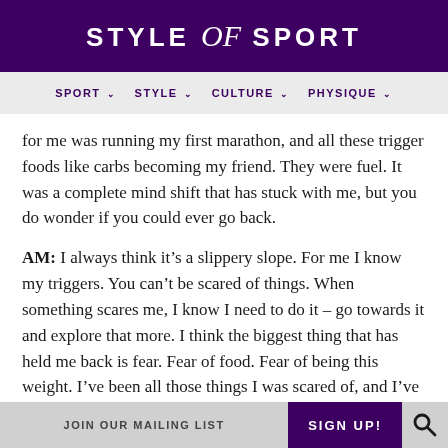STYLE of SPORT
SPORT   STYLE   CULTURE   PHYSIQUE
for me was running my first marathon, and all these trigger foods like carbs becoming my friend. They were fuel. It was a complete mind shift that has stuck with me, but you do wonder if you could ever go back.
AM: I always think it’s a slippery slope. For me I know my triggers. You can’t be scared of things. When something scares me, I know I need to do it – go towards it and explore that more. I think the biggest thing that has held me back is fear. Fear of food. Fear of being this weight. I’ve been all those things I was scared of, and I’ve had all the foods that
JOIN OUR MAILING LIST   SIGN UP!